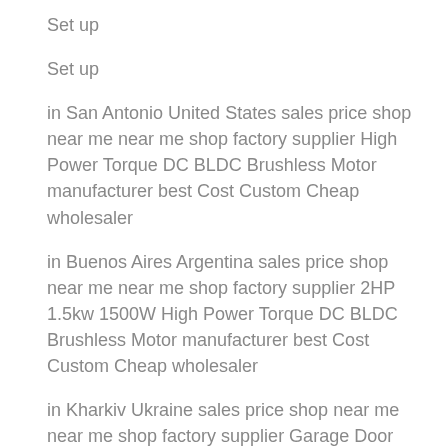Set up
Set up
in San Antonio United States sales price shop near me near me shop factory supplier High Power Torque DC BLDC Brushless Motor manufacturer best Cost Custom Cheap wholesaler
in Buenos Aires Argentina sales price shop near me near me shop factory supplier 2HP 1.5kw 1500W High Power Torque DC BLDC Brushless Motor manufacturer best Cost Custom Cheap wholesaler
in Kharkiv Ukraine sales price shop near me near me shop factory supplier Garage Door Motor Roller Shutter Motor with Remote Control AC300kg-1p manufacturer best Cost Custom Cheap wholesaler
in Kigali Rwanda sales price shop near me near me shop factory supplier 5 Ton 3-Phase Construction Hoist Winch with Electric Trolley manufacturer best Cost Custom Cheap wholesaler